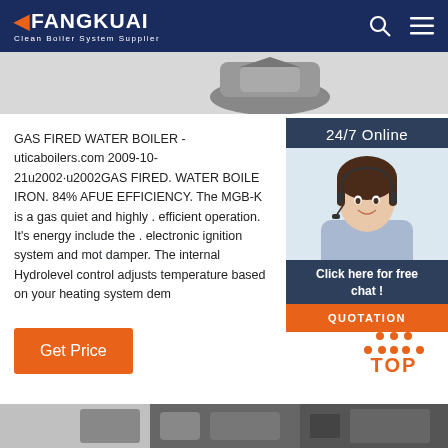FANGKUAI - Clean Boiler System Supplier
[Figure (photo): Partial view of a boiler product image at top of page]
[Figure (photo): 24/7 Online customer service widget with agent photo, 'Click here for free chat!' text, and QUOTATION button]
GAS FIRED WATER BOILER - uticaboilers.com 2009-10-21u2002·u2002GAS FIRED. WATER BOILER. CAST IRON. 84% AFUE EFFICIENCY. The MGB-K is a gas fired cast iron sectional boiler designed for quiet and highly . efficient operation. It's energy saving features include the . electronic ignition system and motorized vent damper. The internal Hydrolevel control adjusts the water temperature based on your heating system dem...
[Figure (other): Orange 'Get Price' button]
[Figure (other): Orange TOP icon with dots pattern (back to top button)]
[Figure (photo): Bottom strip showing boiler/pipe product imagery]